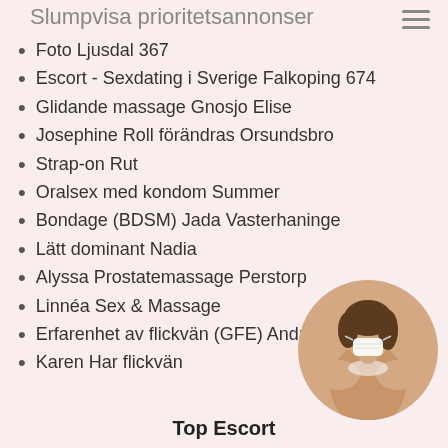Slumpvisa prioritetsannonser
Foto Ljusdal 367
Escort - Sexdating i Sverige Falkoping 674
Glidande massage Gnosjo Elise
Josephine Roll förändras Orsundsbro
Strap-on Rut
Oralsex med kondom Summer
Bondage (BDSM) Jada Vasterhaninge
Lätt dominant Nadia
Alyssa Prostatemassage Perstorp
Linnéa Sex & Massage
Erfarenhet av flickvän (GFE) Andrea
Karen Har flickvän
[Figure (photo): Circular cropped photo of a woman holding a face mask]
Top Escort